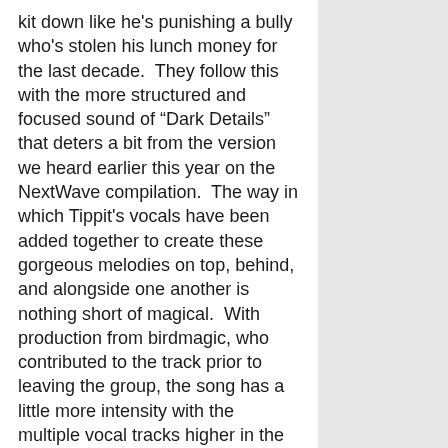kit down like he's punishing a bully who's stolen his lunch money for the last decade.  They follow this with the more structured and focused sound of “Dark Details” that deters a bit from the version we heard earlier this year on the NextWave compilation.  The way in which Tippit's vocals have been added together to create these gorgeous melodies on top, behind, and alongside one another is nothing short of magical.  With production from birdmagic, who contributed to the track prior to leaving the group, the song has a little more intensity with the multiple vocal tracks higher in the mix as well as a stunning solo vocal that cries into the night like a painful howl.  Though it's essentially the same track, the electronics and vocals are both higher in the mix giving the song an overall feeling of something completely different.